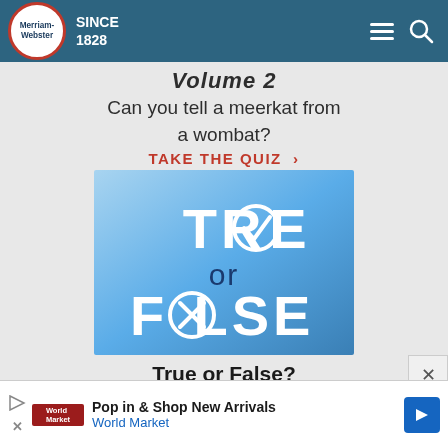Merriam-Webster SINCE 1828
Volume 2
Can you tell a meerkat from a wombat?
TAKE THE QUIZ >
[Figure (illustration): True or False quiz graphic with gradient blue background showing 'TR✓E or F✗LSE' text in white and blue]
True or False?
Test your knowledge - and maybe learn something a...
Pop in & Shop New Arrivals World Market